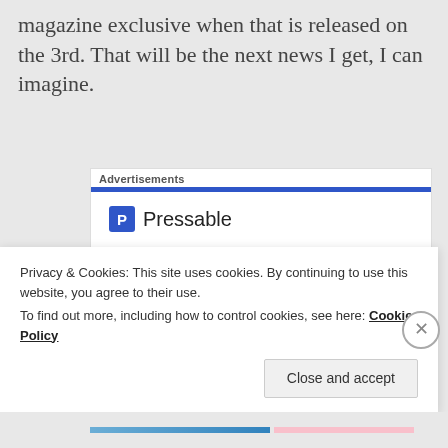magazine exclusive when that is released on the 3rd. That will be the next news I get, I can imagine.
[Figure (other): Pressable advertisement banner with headline 'The Platform Where WordPress Works Best' and a blue CTA button]
Privacy & Cookies: This site uses cookies. By continuing to use this website, you agree to their use. To find out more, including how to control cookies, see here: Cookie Policy
Close and accept